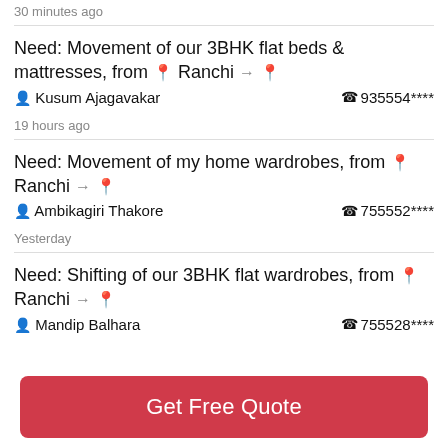30 minutes ago
Need: Movement of our 3BHK flat beds & mattresses, from Ranchi →
posted by Kusum Ajagavakar   935554****
19 hours ago
Need: Movement of my home wardrobes, from Ranchi →
posted by Ambikagiri Thakore   755552****
Yesterday
Need: Shifting of our 3BHK flat wardrobes, from Ranchi →
posted by Mandip Balhara   755528****
Get Free Quote